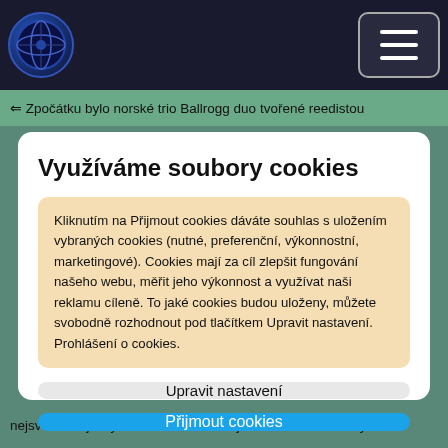[Figure (logo): Circular dark blue globe/earth logo icon in top left of navigation bar]
[Figure (other): Hamburger menu button (three horizontal lines) in top right of navigation bar]
⇐ Zpočátku bylo norské trio Ballrogg duo tvořené reedistou
Využíváme soubory cookies
Kliknutím na Přijmout cookies dáváte souhlas s uložením vybraných cookies (nutné, preferenční, výkonnostní, marketingové). Cookies mají za cíl zlepšit fungování našeho webu, měřit jeho výkonnost a využívat naši reklamu cíleně. To jaké cookies budou uloženy, můžete svobodně rozhodnout pod tlačítkem Upravit nastavení. Prohlášení o cookies.
Upravit nastavení
Přijmout cookies
nejsvobodnější výraz. Aranžíná vhásejí do těchto bukonických